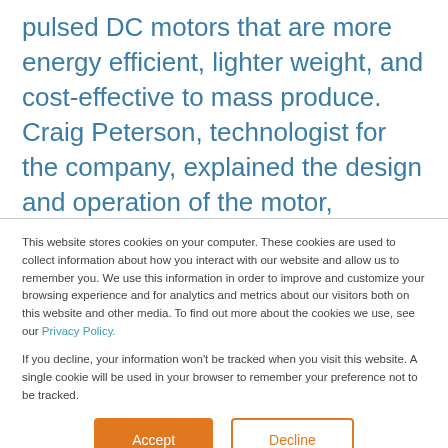pulsed DC motors that are more energy efficient, lighter weight, and cost-effective to mass produce. Craig Peterson, technologist for the company, explained the design and operation of the motor, claiming 98 percent efficiencies. Because of clearly defined
This website stores cookies on your computer. These cookies are used to collect information about how you interact with our website and allow us to remember you. We use this information in order to improve and customize your browsing experience and for analytics and metrics about our visitors both on this website and other media. To find out more about the cookies we use, see our Privacy Policy.
If you decline, your information won't be tracked when you visit this website. A single cookie will be used in your browser to remember your preference not to be tracked.
Accept
Decline